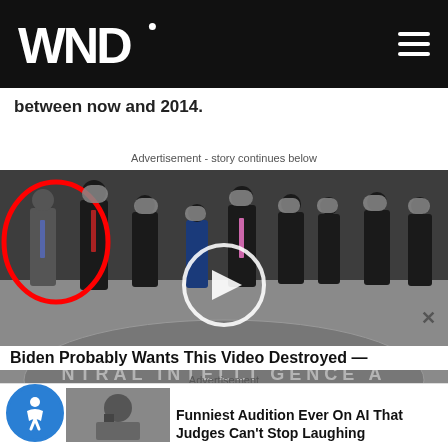WND
between now and 2014.
Advertisement - story continues below
[Figure (photo): Group photo of men in suits standing in the CIA headquarters lobby on the Central Intelligence Agency seal floor. One man on the left is circled in red. Other faces are blurred. A video play button overlay is in the center.]
Biden Probably Wants This Video Destroyed —
Advertisement
Funniest Audition Ever On AI That Judges Can't Stop Laughing